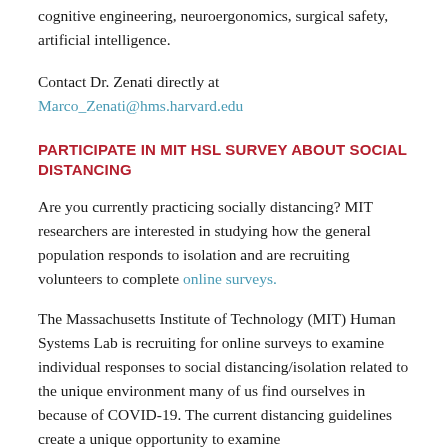opening for PhD students interested in robotics, cognitive engineering, neuroergonomics, surgical safety, artificial intelligence.
Contact Dr. Zenati directly at Marco_Zenati@hms.harvard.edu
PARTICIPATE IN MIT HSL SURVEY ABOUT SOCIAL DISTANCING
Are you currently practicing socially distancing? MIT researchers are interested in studying how the general population responds to isolation and are recruiting volunteers to complete online surveys.
The Massachusetts Institute of Technology (MIT) Human Systems Lab is recruiting for online surveys to examine individual responses to social distancing/isolation related to the unique environment many of us find ourselves in because of COVID-19. The current distancing guidelines create a unique opportunity to examine